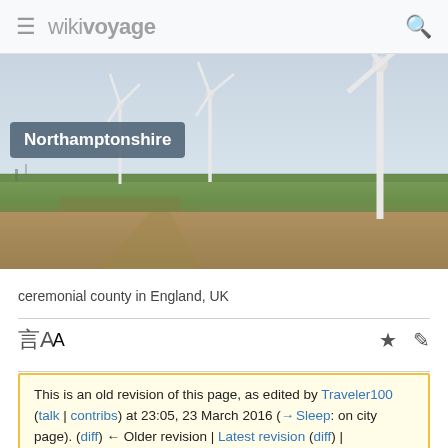≡ wikivoyage 🔍
[Figure (photo): Landscape photograph of Northamptonshire showing wind turbines in flat green and brown farmland under a light blue sky, with a title badge reading 'Northamptonshire']
ceremonial county in England, UK
This is an old revision of this page, as edited by Traveler100 (talk | contribs) at 23:05, 23 March 2016 (→ Sleep: on city page). (diff) ← Older revision | Latest revision (diff) |